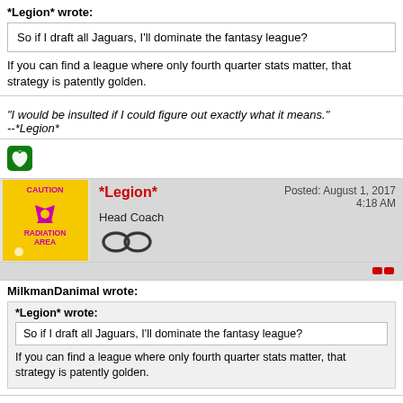*Legion* wrote:
So if I draft all Jaguars, I'll dominate the fantasy league?
If you can find a league where only fourth quarter stats matter, that strategy is patently golden.
"I would be insulted if I could figure out exactly what it means."
--*Legion*
[Figure (logo): Xbox logo icon, green square with Xbox symbol]
*Legion*  Head Coach  Posted: August 1, 2017  4:18 AM
[Figure (illustration): Caution Radiation Area yellow warning sign with pink radioactive symbol]
[Figure (illustration): Infinity symbol drawn with overlapping ellipses]
MilkmanDanimal wrote:
*Legion* wrote:
So if I draft all Jaguars, I'll dominate the fantasy league?
If you can find a league where only fourth quarter stats matter, that strategy is patently golden.